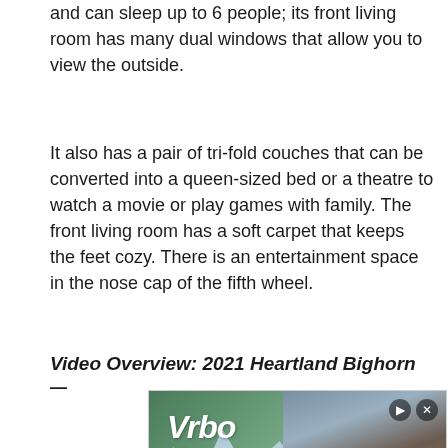and can sleep up to 6 people; its front living room has many dual windows that allow you to view the outside.
It also has a pair of tri-fold couches that can be converted into a queen-sized bed or a theatre to watch a movie or play games with family. The front living room has a soft carpet that keeps the feet cozy. There is an entertainment space in the nose cap of the fifth wheel.
Video Overview: 2021 Heartland Bighorn —
[Figure (photo): Vrbo advertisement banner showing a mountain-view vacation rental home with trees and mountains in background. Contains Vrbo logo, a search bar with 'Mountain View' and checkbox, and a 'Book Now' button.]